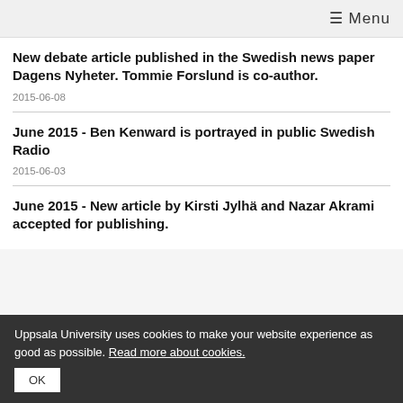≡ Menu
New debate article published in the Swedish news paper Dagens Nyheter. Tommie Forslund is co-author.
2015-06-08
June 2015 - Ben Kenward is portrayed in public Swedish Radio
2015-06-03
June 2015 - New article by Kirsti Jylhä and Nazar Akrami accepted for publishing.
Uppsala University uses cookies to make your website experience as good as possible. Read more about cookies.